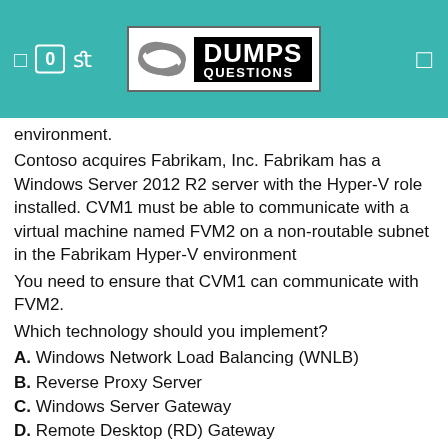DUMPS QUESTIONS
environment.
Contoso acquires Fabrikam, Inc. Fabrikam has a Windows Server 2012 R2 server with the Hyper-V role installed. CVM1 must be able to communicate with a virtual machine named FVM2 on a non-routable subnet in the Fabrikam Hyper-V environment
You need to ensure that CVM1 can communicate with FVM2.
Which technology should you implement?
A. Windows Network Load Balancing (WNLB)
B. Reverse Proxy Server
C. Windows Server Gateway
D. Remote Desktop (RD) Gateway
Answer: C
Explanation:
Ref: http://technet.microsoft.com/en-